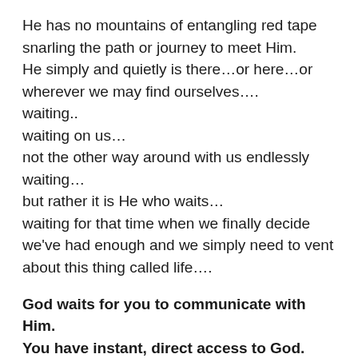He has no mountains of entangling red tape snarling the path or journey to meet Him.
He simply and quietly is there…or here…or wherever we may find ourselves….
waiting..
waiting on us…
not the other way around with us endlessly waiting…
but rather it is He who waits…
waiting for that time when we finally decide we've had enough and we simply need to vent about this thing called life….
God waits for you to communicate with Him.
You have instant, direct access to God.
God loves mankind so much, and in a very special sense His children,
that He has made Himself available to us at all the…